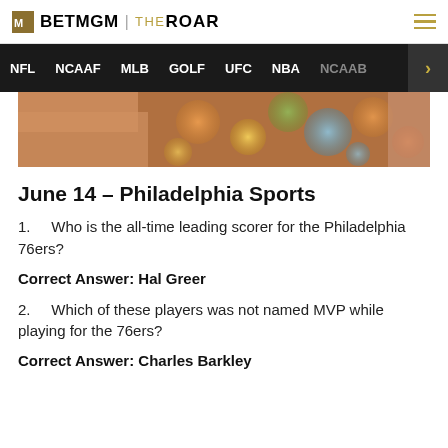BETMGM | THEROAR
[Figure (screenshot): Navigation bar with sports categories: NFL, NCAAF, MLB, GOLF, UFC, NBA, NCAAB and a right arrow]
[Figure (photo): Hero image showing hands and blurry bokeh lights in orange, yellow, green and blue tones]
June 14 – Philadelphia Sports
1. Who is the all-time leading scorer for the Philadelphia 76ers?
Correct Answer: Hal Greer
2. Which of these players was not named MVP while playing for the 76ers?
Correct Answer: Charles Barkley